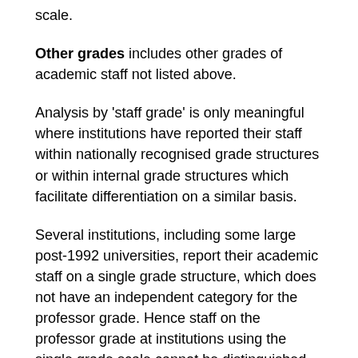scale.
Other grades includes other grades of academic staff not listed above.
Analysis by 'staff grade' is only meaningful where institutions have reported their staff within nationally recognised grade structures or within internal grade structures which facilitate differentiation on a similar basis.
Several institutions, including some large post-1992 universities, report their academic staff on a single grade structure, which does not have an independent category for the professor grade. Hence staff on the professor grade at institutions using the single grade scale cannot be distinguished from the senior lecturer grade, leading to the number of professors being under-counted for these institutions and for the sector as a whole. This under-counting will have a consequential effect on the proportions of